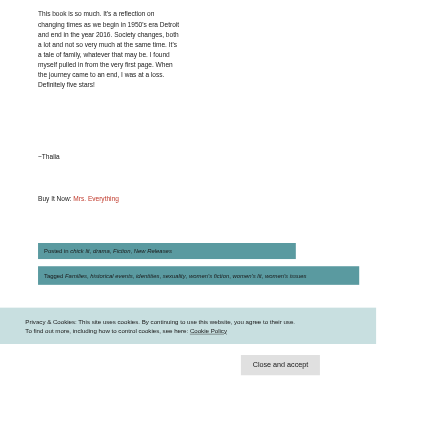This book is so much. It's a reflection on changing times as we begin in 1950's era Detroit and end in the year 2016. Society changes, both a lot and not so very much at the same time. It's a tale of family, whatever that may be. I found myself pulled in from the very first page. When the journey came to an end, I was at a loss. Definitely five stars!
~Thalia
Buy It Now: Mrs. Everything
Posted in chick lit, drama, Fiction, New Releases
Tagged Families, historical events, identities, sexuality, women's fiction, women's lit, women's issues
Privacy & Cookies: This site uses cookies. By continuing to use this website, you agree to their use.
To find out more, including how to control cookies, see here: Cookie Policy
Close and accept